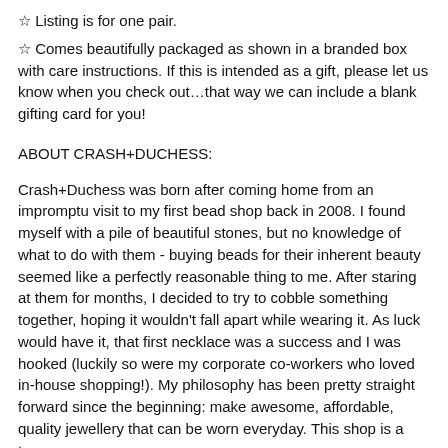☆ Listing is for one pair.
☆ Comes beautifully packaged as shown in a branded box with care instructions. If this is intended as a gift, please let us know when you check out…that way we can include a blank gifting card for you!
ABOUT CRASH+DUCHESS:
Crash+Duchess was born after coming home from an impromptu visit to my first bead shop back in 2008. I found myself with a pile of beautiful stones, but no knowledge of what to do with them - buying beads for their inherent beauty seemed like a perfectly reasonable thing to me. After staring at them for months, I decided to try to cobble something together, hoping it wouldn't fall apart while wearing it. As luck would have it, that first necklace was a success and I was hooked (luckily so were my corporate co-workers who loved in-house shopping!). My philosophy has been pretty straight forward since the beginning: make awesome, affordable, quality jewellery that can be worn everyday. This shop is a true one-